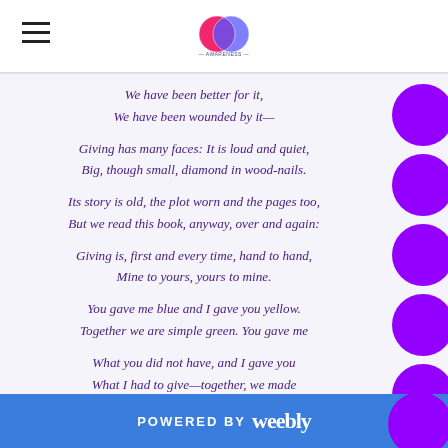[Logo: The World Jewish Book Project — Weebly site header with hamburger menu]
We have been better for it,
We have been wounded by it—
Giving has many faces: It is loud and quiet,
Big, though small, diamond in wood-nails.
Its story is old, the plot worn and the pages too,
But we read this book, anyway, over and again:
Giving is, first and every time, hand to hand,
Mine to yours, yours to mine.
You gave me blue and I gave you yellow.
Together we are simple green. You gave me
What you did not have, and I gave you
What I had to give—together, we made
POWERED BY weebly